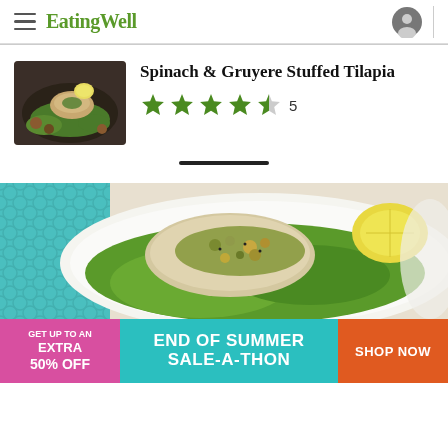EatingWell
Spinach & Gruyere Stuffed Tilapia
★★★★½ 5
[Figure (photo): Stuffed tilapia roll with lemon on a dark plate with greens and roasted vegetables]
[Figure (photo): Grilled white fish on a bed of green lettuce with chopped walnut herb topping and lemon wedge]
[Figure (infographic): Advertisement banner: GET UP TO AN EXTRA 50% OFF | END OF SUMMER SALE-A-THON | SHOP NOW]